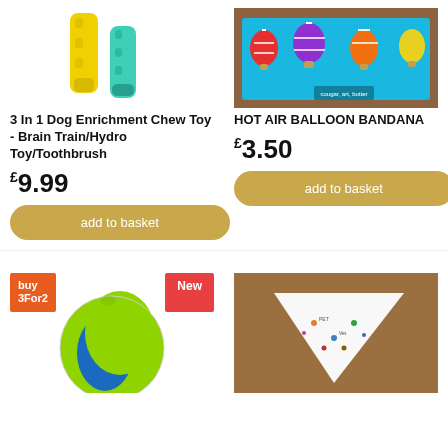[Figure (photo): Yellow and teal dog chew toy - two textured stick-shaped toys]
3 In 1 Dog Enrichment Chew Toy - Brain Train/Hydro Toy/Toothbrush
£9.99
add to basket
[Figure (photo): Hot air balloon patterned bandana on wooden surface]
HOT AIR BALLOON BANDANA
£3.50
add to basket
[Figure (photo): Green and blue dog ball toy with buy 3 for 2 and New badges]
[Figure (photo): White dog bandana with pattern on wooden surface]